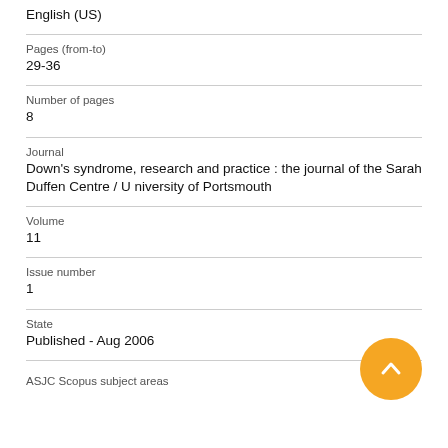English (US)
Pages (from-to)
29-36
Number of pages
8
Journal
Down's syndrome, research and practice : the journal of the Sarah Duffen Centre / University of Portsmouth
Volume
11
Issue number
1
State
Published - Aug 2006
ASJC Scopus subject areas